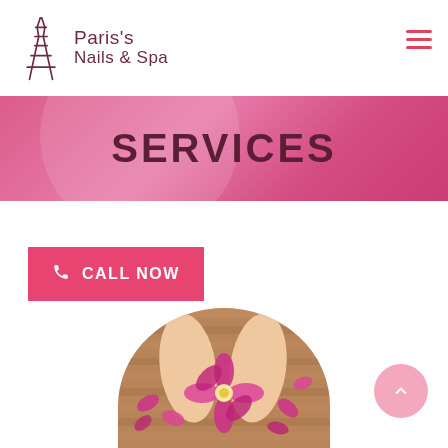[Figure (logo): Paris's Nails & Spa logo with Eiffel Tower icon and text]
SERVICES
CALL NOW
[Figure (photo): Circular photo of feet with pink orchid flowers on a wooden background — spa/pedicure themed]